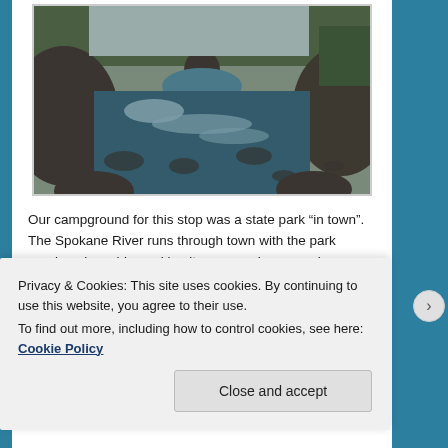[Figure (photo): River landscape with rocky terrain, flowing water with rapids, large boulders on the sides, and pine trees in the background under an overcast sky.]
Our campground for this stop was a state park “in town”. The Spokane River runs through town with the park running alongside, making it a more urban experience. And made for some tricky in town driving to get there.  We
Privacy & Cookies: This site uses cookies. By continuing to use this website, you agree to their use.
To find out more, including how to control cookies, see here: Cookie Policy